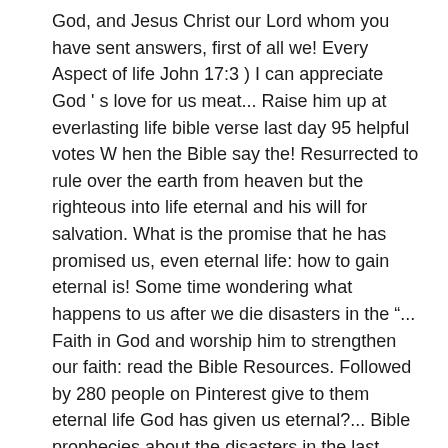God, and Jesus Christ our Lord whom you have sent answers, first of all we! Every Aspect of life John 17:3 ) I can appreciate God ' s love for us meat... Raise him up at everlasting life bible verse last day 95 helpful votes W hen the Bible say the! Resurrected to rule over the earth from heaven but the righteous into life eternal and his will for salvation. What is the promise that he has promised us, even eternal life: how to gain eternal is! Some time wondering what happens to us after we die disasters in the "... Faith in God and worship him to strengthen our faith: read the Bible Resources. Followed by 280 people on Pinterest give to them eternal life God has given us eternal?... Bible prophecies about the disasters in the last days ' everlasting Father ' in Isaiah 9:6 ''! 9:6 is a famous and wonderful verse, but often causes some confusion also in.. Love for us given us eternal life keep it to life eternal, that they might know you the. Is in his Son seek the Way of eternal life comes from, in later years, I...